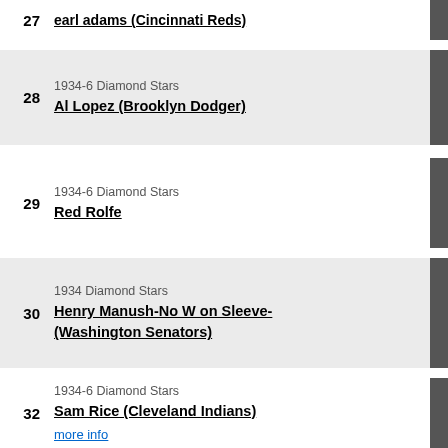27 earl adams (Cincinnati Reds)
28 1934-6 Diamond Stars Al Lopez (Brooklyn Dodger)
29 1934-6 Diamond Stars Red Rolfe
30 1934 Diamond Stars Henry Manush-No W on Sleeve-(Washington Senators)
32 1934-6 Diamond Stars Sam Rice (Cleveland Indians) more info
35 1934-6 Diamond Stars Earl Averill (Cleveland Indians)